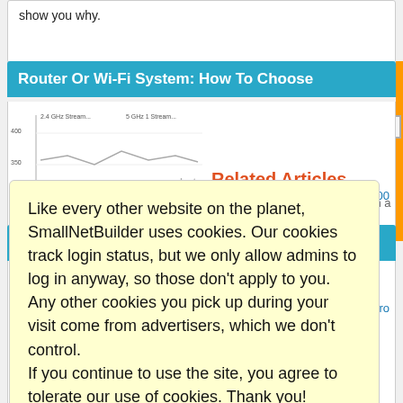show you why.
Router Or Wi-Fi System: How To Choose
[Figure (continuous-plot): Line chart showing 2.4GHz and 5GHz Wi-Fi throughput data with multiple colored lines]
Related Articles
To video: how to decide between a router and a Wi-Fi System? This straightforward guide should help.
Infrant ReadyNAS NV+ and 1100 S Pro
...00
Wi-Fi C
...S Pro
Like every other website on the planet, SmallNetBuilder uses cookies. Our cookies track login status, but we only allow admins to log in anyway, so those don't apply to you. Any other cookies you pick up during your visit come from advertisers, which we don't control.
If you continue to use the site, you agree to tolerate our use of cookies. Thank you!